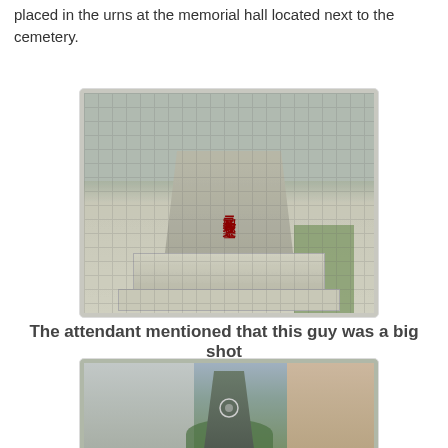placed in the urns at the memorial hall located next to the cemetery.
[Figure (photo): Photograph of a Chinese cemetery grave monument with red Chinese characters inscribed on a trapezoidal stone marker, surrounded by a tiled base with grid wire mesh overlay. Background shows cemetery grounds with covered niches.]
The attendant mentioned that this guy was a big shot
[Figure (photo): Photograph of a tall grey obelisk-style monument with a circular emblem (plum blossom), set against a background of tall residential apartment buildings and trees. Urban Singapore setting.]